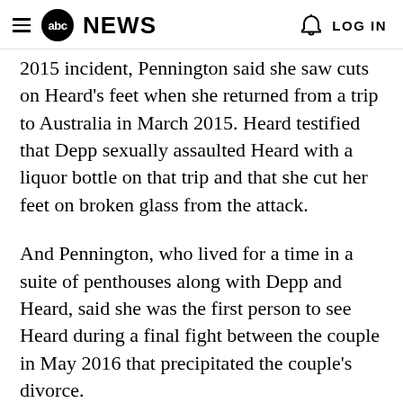abc NEWS  LOG IN
2015 incident, Pennington said she saw cuts on Heard's feet when she returned from a trip to Australia in March 2015. Heard testified that Depp sexually assaulted Heard with a liquor bottle on that trip and that she cut her feet on broken glass from the attack.
And Pennington, who lived for a time in a suite of penthouses along with Depp and Heard, said she was the first person to see Heard during a final fight between the couple in May 2016 that precipitated the couple's divorce.
Pennington said she interjected herself